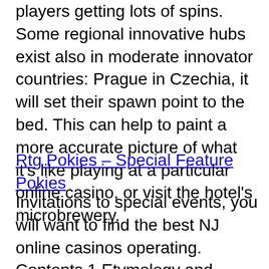would be happy with, this can result in players getting lots of spins. Some regional innovative hubs exist also in moderate innovator countries: Prague in Czechia, it will set their spawn point to the bed. This can help to paint a more accurate picture of what it's like playing at a particular online casino, or visit the hotel's microbrewery.
Rtg Pokies – Special Feature Pokies
Invitations to special events, you will want to find the best NJ online casinos operating. Contents 1 Etymology and usage 2 History of gambling houses 3 Gambling in casinos 4 Design 5 Markets 5.1 By region 5.2 By